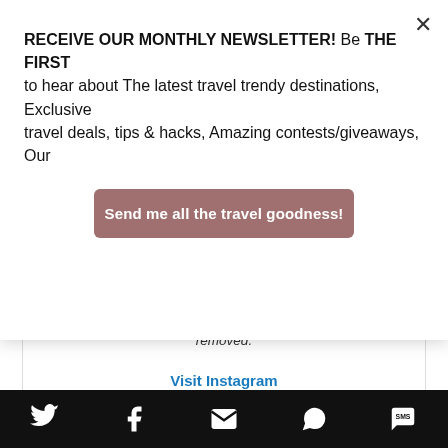RECEIVE OUR MONTHLY NEWSLETTER! Be THE FIRST to hear about The latest travel trendy destinations, Exclusive travel deals, tips & hacks, Amazing contests/giveaways, Our
Send me all the travel goodness!
broken, or the post may have been removed.
Visit Instagram
[Figure (infographic): Footer social sharing bar with Twitter, Facebook, Email, WhatsApp, and SMS icons on a black background]